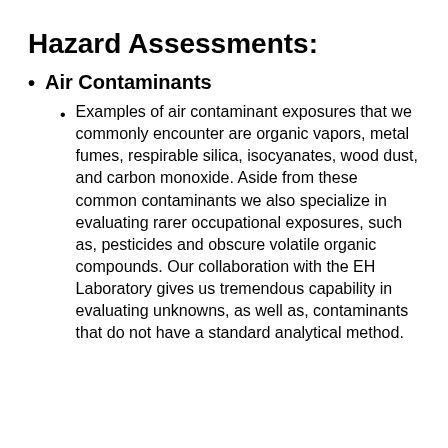Hazard Assessments:
Air Contaminants
Examples of air contaminant exposures that we commonly encounter are organic vapors, metal fumes, respirable silica, isocyanates, wood dust, and carbon monoxide. Aside from these common contaminants we also specialize in evaluating rarer occupational exposures, such as, pesticides and obscure volatile organic compounds. Our collaboration with the EH Laboratory gives us tremendous capability in evaluating unknowns, as well as, contaminants that do not have a standard analytical method.